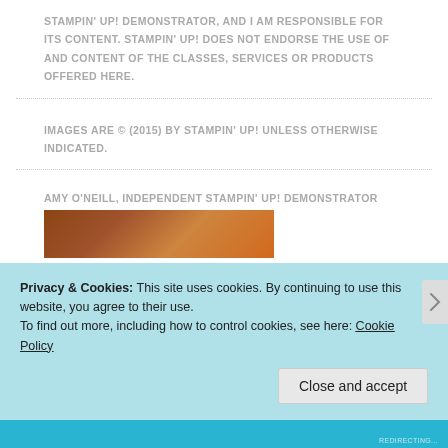STAMPIN' UP! DEMONSTRATOR, AND I AM RESPONSIBLE FOR ITS CONTENT. STAMPIN' UP! DOES NOT ENDORSE THE USE OF AND CONTENT OF THE CLASSES, SERVICES OR PRODUCTS OFFERED HERE.
IMAGES ARE © (2015) BY STAMPIN' UP! UNLESS OTHERWISE INDICATED.
AMY O'NEILL, INDEPENDENT STAMPIN' UP! DEMONSTRATOR
[Figure (photo): Partial photo of Amy O'Neill, partially obscured by cookie banner]
Privacy & Cookies: This site uses cookies. By continuing to use this website, you agree to their use.
To find out more, including how to control cookies, see here: Cookie Policy
Close and accept